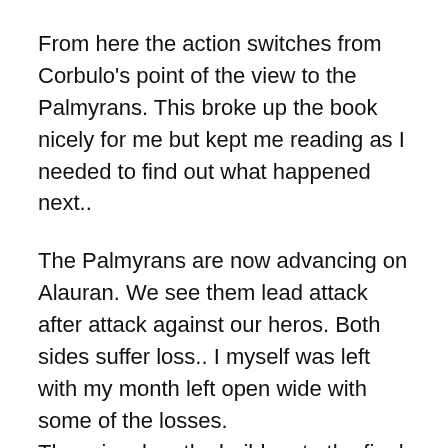From here the action switches from Corbulo's point of the view to the Palmyrans. This broke up the book nicely for me but kept me reading as I needed to find out what happened next..
The Palmyrans are now advancing on Alauran. We see them lead attack after attack against our heros. Both sides suffer loss.. I myself was left with my month left open wide with some of the losses.
There is a lengthy build up to the final battle and for me the ending didn't disappoint. I had high hopes for the ending and It didn't play out exactly as I thought but the characters involved were there and that was exactly what I wanted to see.
I wouldn't change a single thing with this book in all honesty; it was a cracking read and has left me wanting more. As it happens my birthday is this month so I've hinted to the family [continues...]